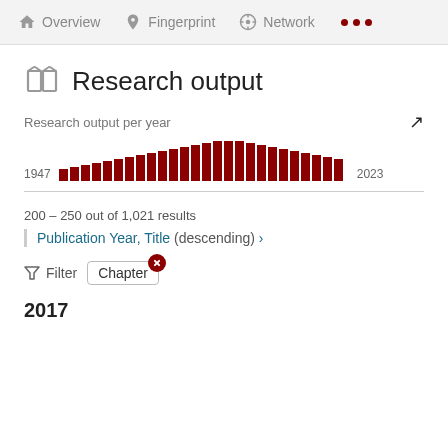Overview  Fingerprint  Network  ...
Research output
[Figure (bar-chart): Research output per year]
200 – 250 out of 1,021 results
Publication Year, Title (descending) ›
Filter  Chapter
2017